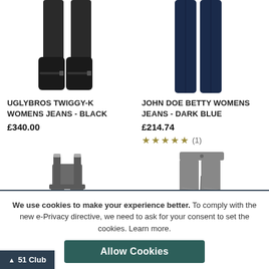[Figure (photo): Lower half of person wearing black jeans and tall black boots]
[Figure (photo): Lower half of person wearing dark blue slim-fit jeans]
UGLYBROS TWIGGY-K WOMENS JEANS - BLACK
£340.00
JOHN DOE BETTY WOMENS JEANS - DARK BLUE
£214.74
★★★★★ (1)
[Figure (photo): Grey dungaree-style motorcycle overalls]
[Figure (photo): Grey distressed-look women's motorcycle jeans]
We use cookies to make your experience better. To comply with the new e-Privacy directive, we need to ask for your consent to set the cookies. Learn more.
Allow Cookies
51 Club